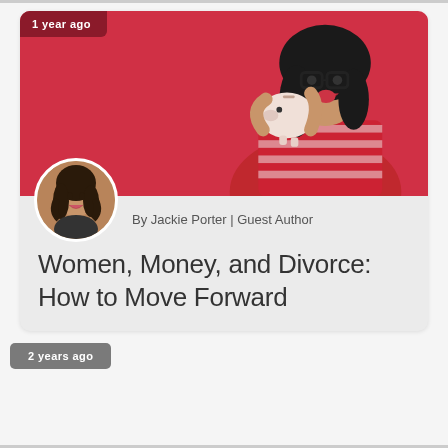[Figure (photo): Blog article card showing a woman with glasses holding a piggy bank against a red background, with author avatar of Jackie Porter]
1 year ago
By Jackie Porter | Guest Author
Women, Money, and Divorce: How to Move Forward
2 years ago